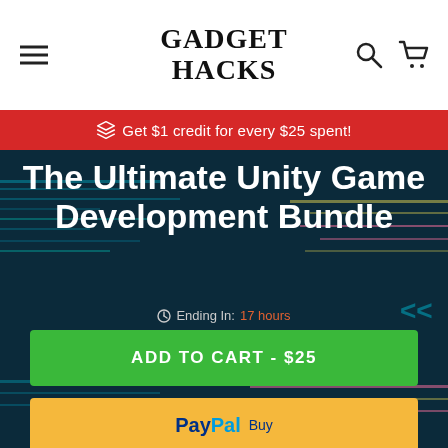GADGET HACKS
Get $1 credit for every $25 spent!
[Figure (screenshot): Hero background with dark blue/teal game development themed illustration with colorful glowing lines]
The Ultimate Unity Game Development Bundle
Ending In: 17 hours
ADD TO CART - $25
PayPal Buy
1
$800 96% off